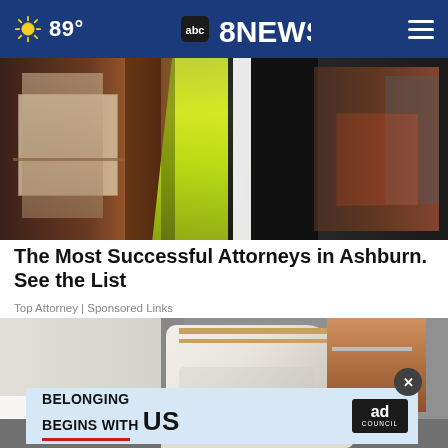abc 8NEWS | 89°
[Figure (photo): Two people standing in a restaurant setting; one wearing a bright yellow-green dress, the other in dark clothing]
The Most Successful Attorneys in Ashburn. See the List
Top Attorney | Sponsored Links
[Figure (photo): Close-up of person's feet wearing white mesh sneakers with tan/brown accents, wearing light gray pants, standing on pavement]
[Figure (other): Ad Council advertisement: BELONGING BEGINS WITH US]